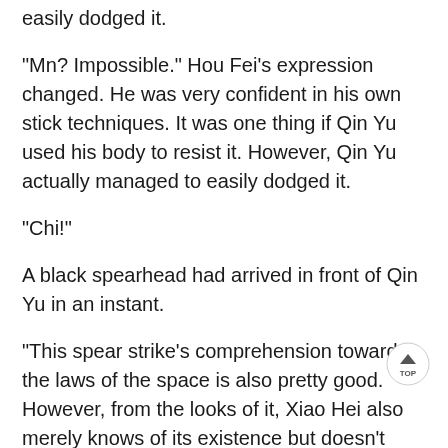easily dodged it.
"Mn? Impossible." Hou Fei's expression changed. He was very confident in his own stick techniques. It was one thing if Qin Yu used his body to resist it. However, Qin Yu actually managed to easily dodged it.
"Chi!"
A black spearhead had arrived in front of Qin Yu in an instant.
"This spear strike's comprehension toward the laws of the space is also pretty good. However, from the looks of it, Xiao Hei also merely knows of its existence but doesn't know what it is yet." Qin Yu's body moved once again. He had dodged the incoming spear.
The comprehension toward the space was something that Qin Yu was able to use on any technique that he posses
Movement technique, spear technique, finger technique, leg technique, fist technique... over ten thousand of them. Hou Fei and Hei Yu had merely achieved the comprehension of